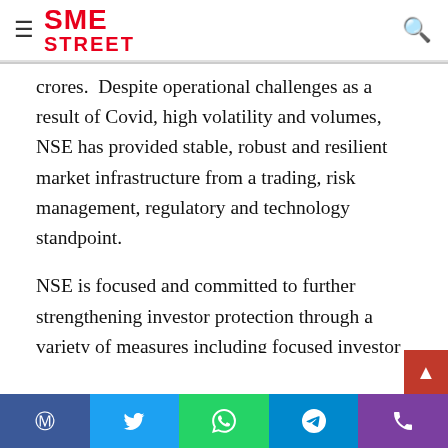SME STREET
crores.  Despite operational challenges as a result of Covid, high volatility and volumes, NSE has provided stable, robust and resilient market infrastructure from a trading, risk management, regulatory and technology standpoint.
NSE is focused and committed to further strengthening investor protection through a variety of measures including focused investor education, enhanced broker supervision and market surveillance. Further, it has always been the endeavour of the exchange to provide a wide range of new products and services catering to t
Social share bar: Facebook, Twitter, WhatsApp, Telegram, Phone